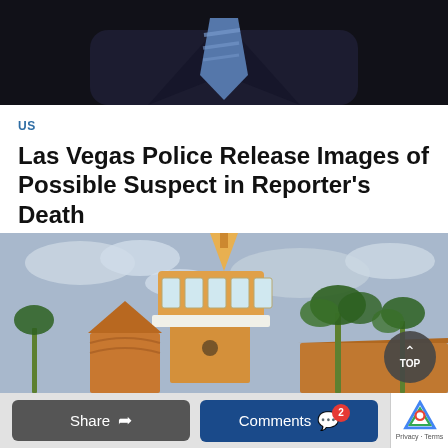[Figure (photo): Top portion of a person in a dark navy suit with a light blue striped tie, shown from chest up against dark background]
US
Las Vegas Police Release Images of Possible Suspect in Reporter’s Death
[Figure (photo): Photograph of the Mar-a-Lago tower/building with orange terracotta roof tiles, white balconies, palm trees, under a cloudy sky]
Share
Comments 2
Privacy · Terms